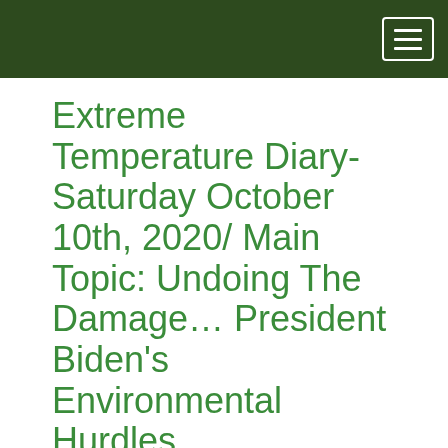Extreme Temperature Diary- Saturday October 10th, 2020/ Main Topic: Undoing The Damage… President Biden's Environmental Hurdles
October 10, 2020   guyonclimate_mi5tor
The main purpose of this ongoing blog will be to track United States extreme or record temperatures related to climate change. Any reports I see of ETs will be listed